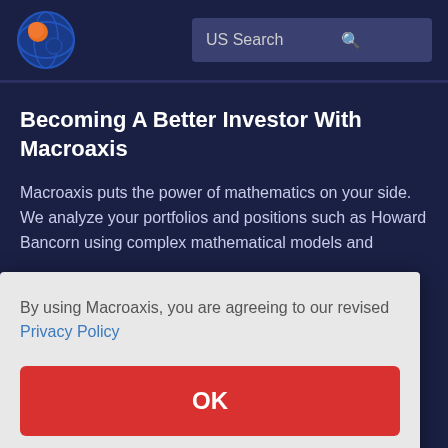[Figure (logo): Macroaxis logo: circular globe icon with orange and blue colors]
US Search
Becoming A Better Investor With Macroaxis
Macroaxis puts the power of mathematics on your side. We analyze your portfolios and positions such as Howard Bancorn using complex mathematical models and
e is no
erform
lative
alue at
By using Macroaxis, you are agreeing to our revised Privacy Policy
OK